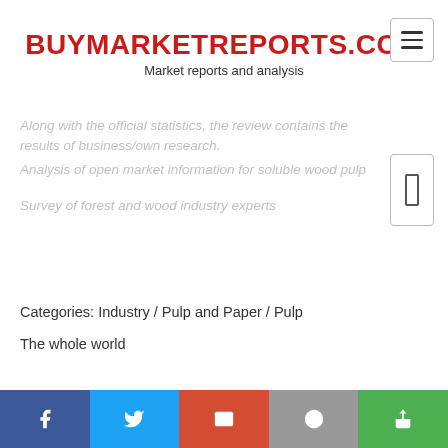BUYMARKETREPORTS.COM
Market reports and analysis
Along with the official statistics, the review contains the results of business/own research.
Analysis of open market information for soluble wood pulp
Survey of forest and wood industry experts
Categories: Industry / Pulp and Paper / Pulp
The whole world
Comments and reviews (0)
No comments yet
Add comment